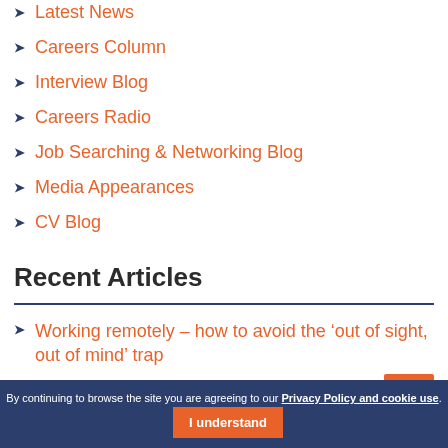Latest News
Careers Column
Interview Blog
Careers Radio
Job Searching & Networking Blog
Media Appearances
CV Blog
Recent Articles
Working remotely – how to avoid the 'out of sight, out of mind' trap
By continuing to browse the site you are agreeing to our Privacy Policy and cookie use. I understand